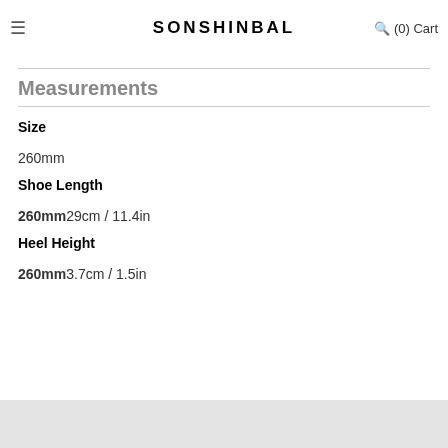SONSHINBAL  (0) Cart
* size may differ 1~3mm from the actual measurement of the shoe.
* The color displayed may vary depending on your screen.
Measurements
Size
260mm
Shoe Length
260mm 29cm / 11.4in
Heel Height
260mm 3.7cm / 1.5in